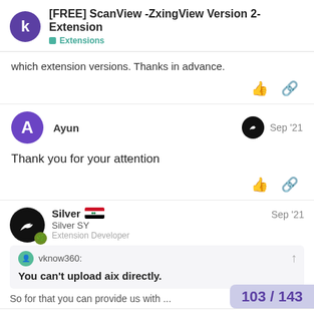[FREE] ScanView -ZxingView Version 2- Extension
Extensions
which extension versions. Thanks in advance.
Ayun  Sep '21
Thank you for your attention
Silver 🇸🇾
Silver SY
Extension Developer
Sep '21
vknow360:
You can't upload aix directly.